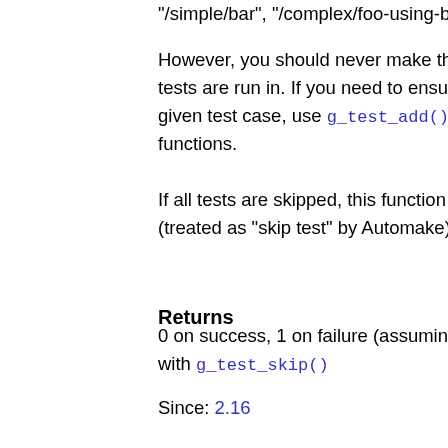"/simple/bar", "/complex/foo-using-bar".
However, you should never make the actual result of a tests are run in. If you need to ensure that some partic given test case, use g_test_add(), which lets you s functions.
If all tests are skipped, this function will return 0 if proc (treated as "skip test" by Automake) otherwise.
Returns
0 on success, 1 on failure (assuming it returns at all), with g_test_skip()
Since: 2.16
GTestFunc ()
void
(*GTestFunc) (void);
The type used for test case functions.